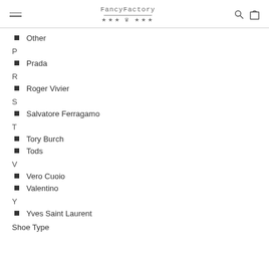FancyFactory (logo with stars and crown)
Other
P
Prada
R
Roger Vivier
S
Salvatore Ferragamo
T
Tory Burch
Tods
V
Vero Cuoio
Valentino
Y
Yves Saint Laurent
Shoe Type